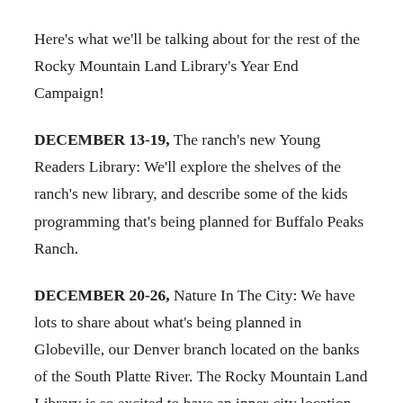Here's what we'll be talking about for the rest of the Rocky Mountain Land Library's Year End Campaign!
DECEMBER 13-19, The ranch's new Young Readers Library: We'll explore the shelves of the ranch's new library, and describe some of the kids programming that's being planned for Buffalo Peaks Ranch.
DECEMBER 20-26, Nature In The City: We have lots to share about what's being planned in Globeville, our Denver branch located on the banks of the South Platte River. The Rocky Mountain Land Library is so excited to have an inner-city location. We'll talk more